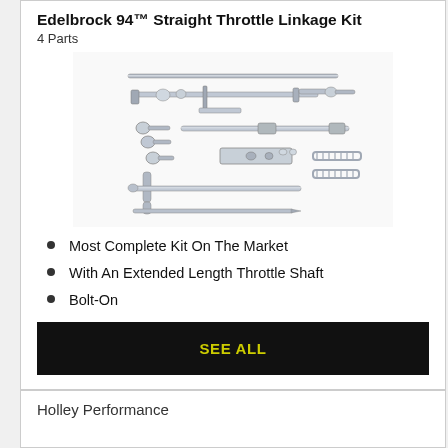Edelbrock 94™ Straight Throttle Linkage Kit
4 Parts
[Figure (photo): Photograph of a throttle linkage kit showing various chromed metal rods, brackets, springs, ball joints, and connecting hardware laid out on a white background.]
Most Complete Kit On The Market
With An Extended Length Throttle Shaft
Bolt-On
SEE ALL
Holley Performance